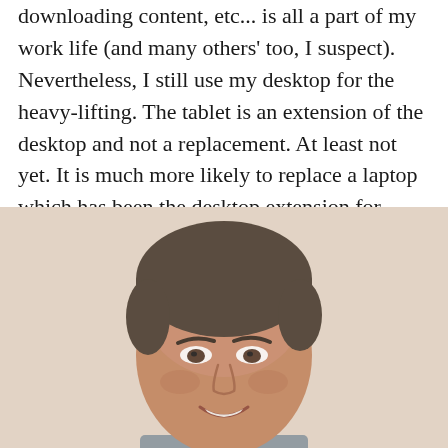downloading content, etc... is all a part of my work life (and many others' too, I suspect). Nevertheless, I still use my desktop for the heavy-lifting. The tablet is an extension of the desktop and not a replacement. At least not yet. It is much more likely to replace a laptop which has been the desktop extension for many if not most until now.
[Figure (photo): Headshot photo of a smiling man with short dark hair, slightly blurred, against a light beige background.]